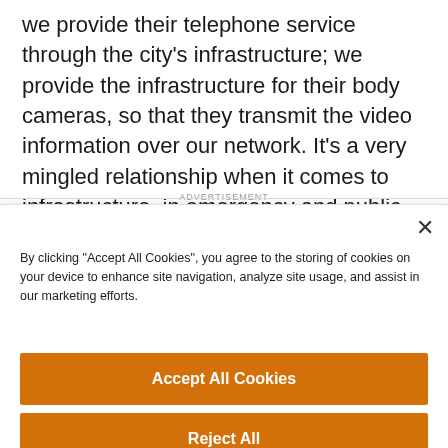we provide their telephone service through the city's infrastructure; we provide the infrastructure for their body cameras, so that they transmit the video information over our network. It's a very mingled relationship when it comes to infrastructure, in emergency and public safety services.
ADVERTISEMENT
×
By clicking "Accept All Cookies", you agree to the storing of cookies on your device to enhance site navigation, analyze site usage, and assist in our marketing efforts.
Accept All Cookies
Reject All
Cookies Settings